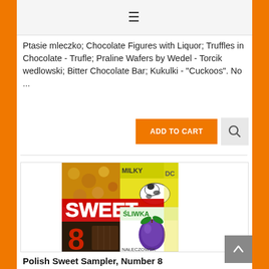≡
Ptasie mleczko; Chocolate Figures with Liquor; Truffles in Chocolate - Trufle; Praline Wafers by Wedel - Torcik wedlowski; Bitter Chocolate Bar; Kukulki - "Cuckoos". No ...
ADD TO CART
[Figure (photo): Product image collage for Polish Sweet Sampler Number 8, showing chocolates, candies, and a plum logo with text SWEET 8 and ŚLIWKA NAŁĘCZOWSK]
Polish Sweet Sampler, Number 8